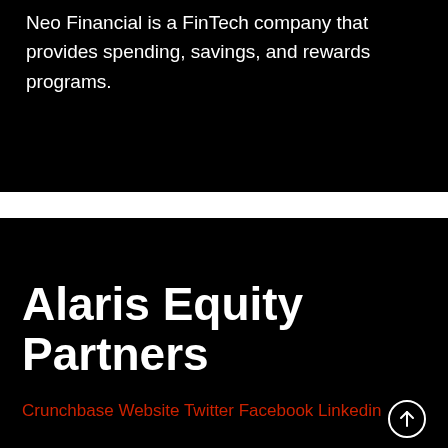Neo Financial is a FinTech company that provides spending, savings, and rewards programs.
Alaris Equity Partners
Crunchbase Website Twitter Facebook Linkedin